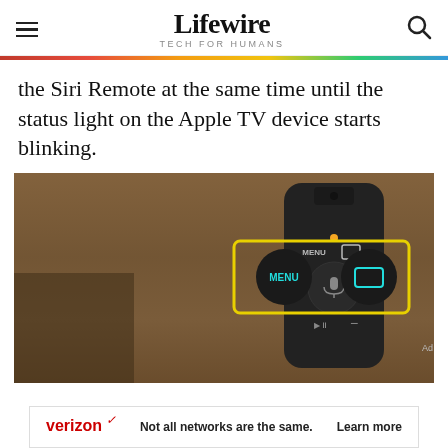Lifewire — TECH FOR HUMANS
the Siri Remote at the same time until the status light on the Apple TV device starts blinking.
[Figure (photo): Photo of an Apple TV Siri Remote lying on a wooden surface. The remote's MENU and TV/Home buttons are highlighted with a yellow rectangle overlay on the left. The full remote is visible on the right showing MENU, microphone, volume, play/pause controls. An orange status light dot is visible.]
Ad
verizon Not all networks are the same. Learn more